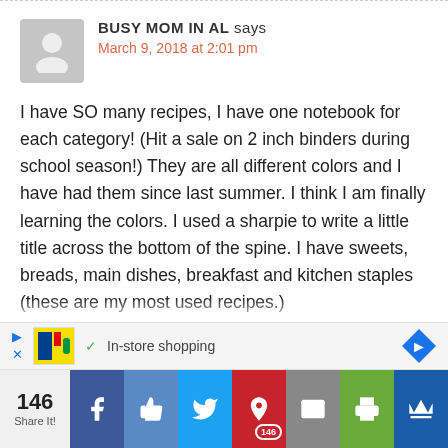BUSY MOM IN AL says
March 9, 2018 at 2:01 pm
I have SO many recipes, I have one notebook for each category! (Hit a sale on 2 inch binders during school season!) They are all different colors and I have had them since last summer. I think I am finally learning the colors. I used a sharpie to write a little title across the bottom of the spine. I have sweets, breads, main dishes, breakfast and kitchen staples (these are my most used recipes.)
In-store shopping
146
Share It!